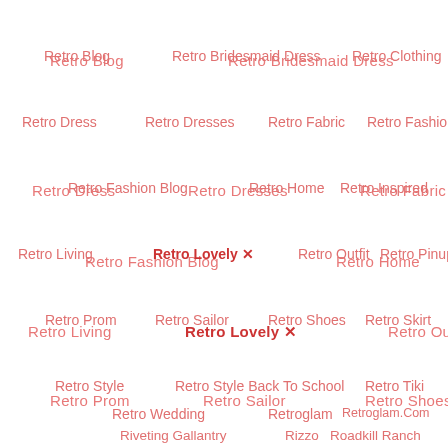Retro Blog
Retro Bridesmaid Dress
Retro Clothing
Retro Dress
Retro Dresses
Retro Fabric
Retro Fashion
Retro Fashion Blog
Retro Home
Retro Inspired
Retro Living
Retro Lovely ✕ (active/selected)
Retro Outfit
Retro Pinups
Retro Prom
Retro Sailor
Retro Shoes
Retro Skirt
Retro Style
Retro Style Back To School
Retro Tiki
Retro Wedding
Retroglam
Retroglam.Com
Riveting Gallantry
Rizzo
Roadkill Ranch